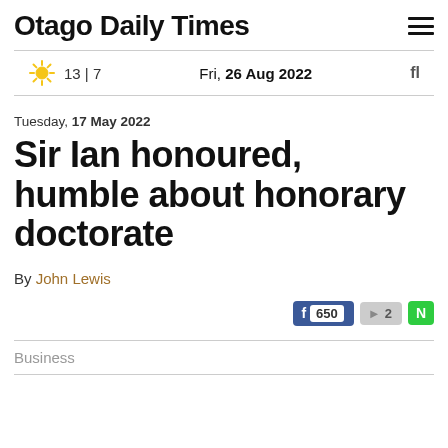Otago Daily Times
13 | 7   Fri, 26 Aug 2022
Tuesday, 17 May 2022
Sir Ian honoured, humble about honorary doctorate
By John Lewis
Business